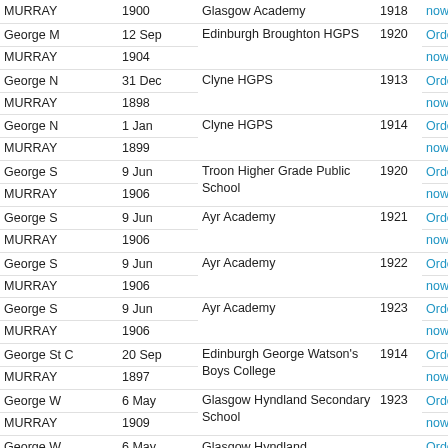| Name | Date | School | Year | Order |
| --- | --- | --- | --- | --- |
| MURRAY | 1900 | Glasgow Academy | 1918 | Order now |
| George M MURRAY | 12 Sep 1904 | Edinburgh Broughton HGPS | 1920 | Order now |
| George N MURRAY | 31 Dec 1898 | Clyne HGPS | 1913 | Order now |
| George N MURRAY | 1 Jan 1899 | Clyne HGPS | 1914 | Order now |
| George S MURRAY | 9 Jun 1906 | Troon Higher Grade Public School | 1920 | Order now |
| George S MURRAY | 9 Jun 1906 | Ayr Academy | 1921 | Order now |
| George S MURRAY | 9 Jun 1906 | Ayr Academy | 1922 | Order now |
| George S MURRAY | 9 Jun 1906 | Ayr Academy | 1923 | Order now |
| George St C MURRAY | 20 Sep 1897 | Edinburgh George Watson's Boys College | 1914 | Order now |
| George W MURRAY | 6 May 1909 | Glasgow Hyndland Secondary School | 1923 | Order now |
| George W MURRAY | 6 May | Glasgow Hyndland |  | Order now |